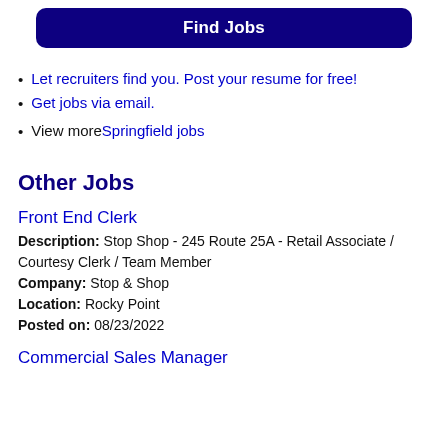Find Jobs
Let recruiters find you. Post your resume for free!
Get jobs via email.
View more Springfield jobs
Other Jobs
Front End Clerk
Description: Stop Shop - 245 Route 25A - Retail Associate / Courtesy Clerk / Team Member
Company: Stop & Shop
Location: Rocky Point
Posted on: 08/23/2022
Commercial Sales Manager